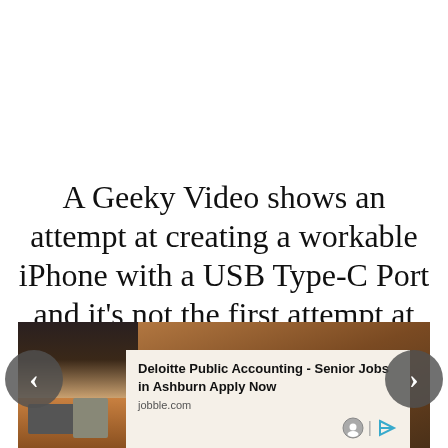A Geeky Video shows an attempt at creating a workable iPhone with a USB Type-C Port and it's not the first attempt at this either
[Figure (photo): Photo showing a person working at a desk with a laptop and calculator, partially overlaid by an advertisement card for 'Deloitte Public Accounting - Senior Jobs in Ashburn Apply Now' from jobble.com. Navigation arrows on left and right sides.]